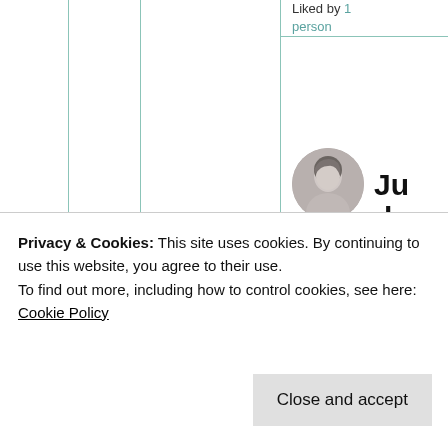Liked by 1 person
[Figure (photo): Circular avatar photo of a person with gray/silver hair, profile view]
Judy Campbell
September
Privacy & Cookies: This site uses cookies. By continuing to use this website, you agree to their use. To find out more, including how to control cookies, see here: Cookie Policy
Close and accept